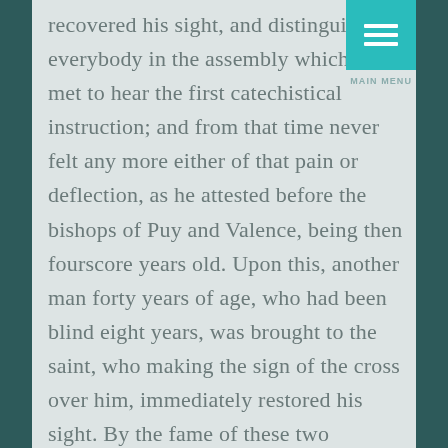recovered his sight, and distinguished everybody in the assembly which they met to hear the first catechistical instruction; and from that time never felt any more either of that pain or deflection, as he attested before the bishops of Puy and Valence, being then fourscore years old. Upon this, another man forty years of age, who had been blind eight years, was brought to the saint, who making the sign of the cross over him, immediately restored his sight. By the fame of these two miracles